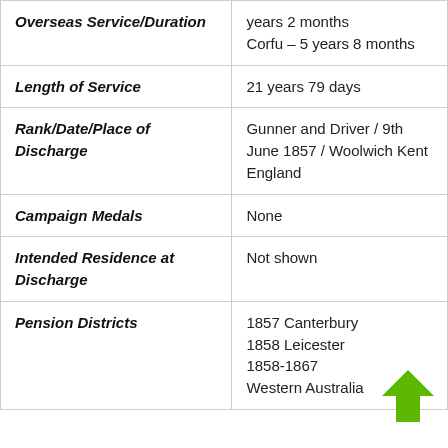| Field | Value |
| --- | --- |
| Overseas Service/Duration | years 2 months
Corfu – 5 years 8 months |
| Length of Service | 21 years 79 days |
| Rank/Date/Place of Discharge | Gunner and Driver / 9th June 1857 / Woolwich Kent England |
| Campaign Medals | None |
| Intended Residence at Discharge | Not shown |
| Pension Districts | 1857 Canterbury
1858 Leicester
1858-1867
Western Australia |
[Figure (illustration): Green upward-pointing arrow icon]